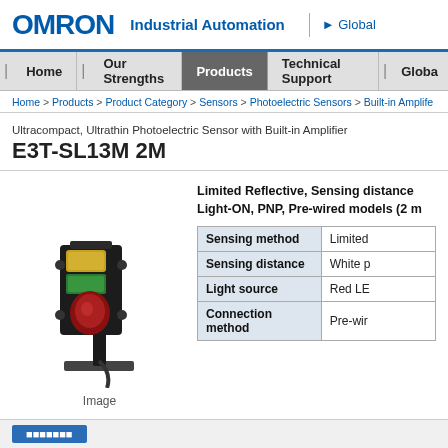OMRON | Industrial Automation | Global
Home | Our Strengths | Products | Technical Support | Global
Home > Products > Product Category > Sensors > Photoelectric Sensors > Built-in Amplife
Ultracompact, Ultrathin Photoelectric Sensor with Built-in Amplifier
E3T-SL13M 2M
[Figure (photo): 3D rendered image of an OMRON E3T-SL13M photoelectric sensor mounted on a stand, showing a small black rectangular sensor with yellow and green lenses at top and a red lens in the middle]
Image
Limited Reflective, Sensing distance Light-ON, PNP, Pre-wired models (2 m)
|  |  |
| --- | --- |
| Sensing method | Limited |
| Sensing distance | White p |
| Light source | Red LE |
| Connection method | Pre-wir |